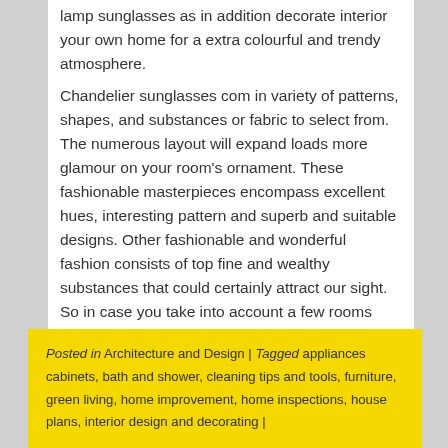lamp sunglasses as in addition decorate interior your own home for a extra colourful and trendy atmosphere.
Chandelier sunglasses com in variety of patterns, shapes, and substances or fabric to select from. The numerous layout will expand loads more glamour on your room's ornament. These fashionable masterpieces encompass excellent hues, interesting pattern and superb and suitable designs. Other fashionable and wonderful fashion consists of top fine and wealthy substances that could certainly attract our sight. So in case you take into account a few rooms inner your home appears boring and lifeless, add it up with such glamour and brilliance a lampshade can deliver. With its interesting style and perfect lighting, you may absolutely get that certain glow you are looking for.
Posted in Architecture and Design | Tagged appliances cabinets, bath and shower, cleaning tips and tools, furniture, green living, home improvement, home inspections, house plans, interior design and decorating |